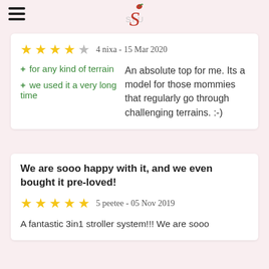S (logo with apple)
4 nixa - 15 Mar 2020
+ for any kind of terrain
+ we used it a very long time
An absolute top for me. Its a model for those mommies that regularly go through challenging terrains. :-)
We are sooo happy with it, and we even bought it pre-loved!
5 peetee - 05 Nov 2019
A fantastic 3in1 stroller system!!! We are sooo